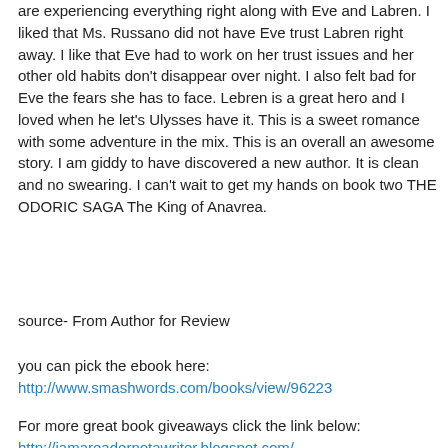are experiencing everything right along with Eve and Labren. I liked that Ms. Russano did not have Eve trust Labren right away. I like that Eve had to work on her trust issues and her other old habits don't disappear over night. I also felt bad for Eve the fears she has to face. Lebren is a great hero and I loved when he let's Ulysses have it. This is a sweet romance with some adventure in the mix. This is an overall an awesome story. I am giddy to have discovered a new author. It is clean and no swearing. I can't wait to get my hands on book two THE ODORIC SAGA The King of Anavrea.
source- From Author for Review
you can pick the ebook here:
http://www.smashwords.com/books/view/96223
For more great book giveaways click the link below:
http://iamareadernotawriter.blogspot.com/